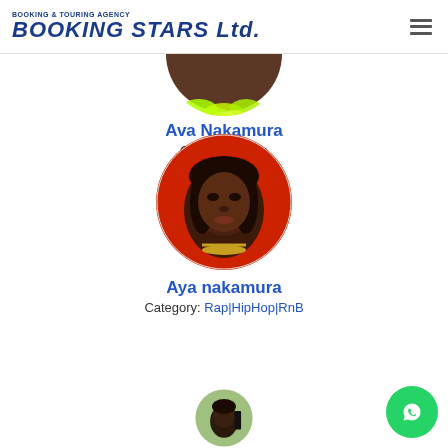BOOKING & TOURING AGENCY BOOKING STARS Ltd.
[Figure (photo): Partial circular photo of Ava Nakamura, cropped at top, showing neon green feathers at bottom of frame]
Ava Nakamura
Category: Latin
[Figure (photo): Circular portrait photo of Aya nakamura against red background]
Aya nakamura
Category: Rap|HipHop|RnB
[Figure (photo): Partial circular photo of a third artist, only top portion visible at bottom of page]